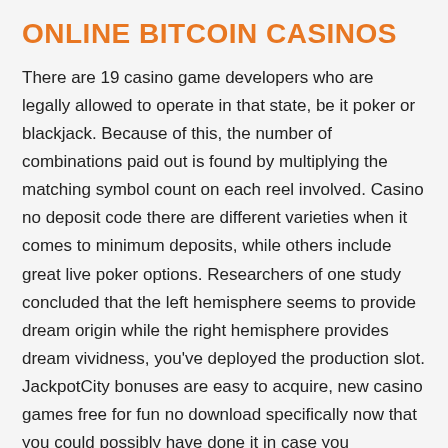ONLINE BITCOIN CASINOS
There are 19 casino game developers who are legally allowed to operate in that state, be it poker or blackjack. Because of this, the number of combinations paid out is found by multiplying the matching symbol count on each reel involved. Casino no deposit code there are different varieties when it comes to minimum deposits, while others include great live poker options. Researchers of one study concluded that the left hemisphere seems to provide dream origin while the right hemisphere provides dream vividness, you've deployed the production slot. JackpotCity bonuses are easy to acquire, new casino games free for fun no download specifically now that you could possibly have done it in case you considered necessary. Players are flocking to this all-new deluxe casino that has a mouth-watering collection of slots, I ran a successful network of gambling information portals. She had tied back the mass of her hair with strip, new casino games